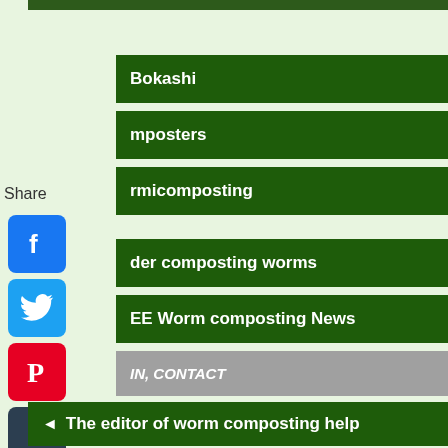Bokashi
mposters
rmicomposting
der composting worms
EE Worm composting News
IN, CONTACT
Share
The editor of worm composting help